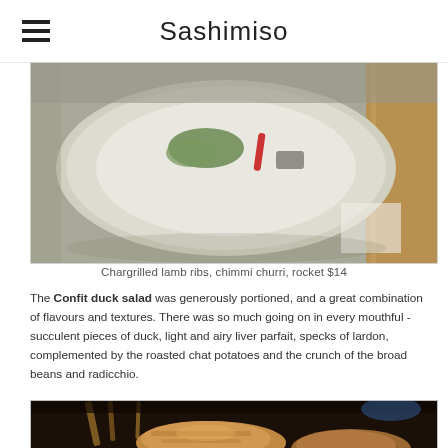Sashimiso
[Figure (photo): A plate with chargrilled lamb ribs, chimmi churri sauce and rocket salad on a light ceramic plate, with a wooden surface visible to the right]
Chargrilled lamb ribs, chimmi churri, rocket $14
The Confit duck salad was generously portioned, and a great combination of flavours and textures. There was so much going on in every mouthful - succulent pieces of duck, light and airy liver parfait, specks of lardon, complemented by the roasted chat potatoes and the crunch of the broad beans and radicchio.
[Figure (photo): A dark food photograph showing grilled meat pieces, possibly the confit duck, on a dark surface with wooden chopsticks or skewers]